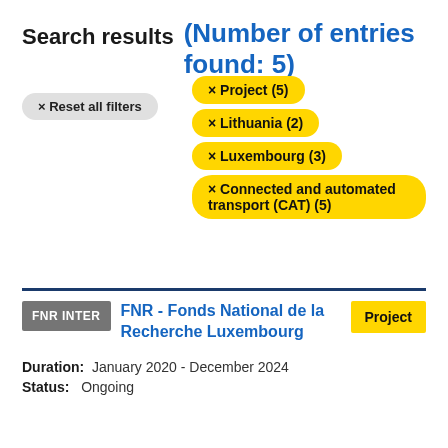Search results (Number of entries found: 5)
× Reset all filters
× Project (5)
× Lithuania (2)
× Luxembourg (3)
× Connected and automated transport (CAT) (5)
FNR INTER
FNR - Fonds National de la Recherche Luxembourg
Project
Duration:  January 2020 - December 2024
Status:  Ongoing